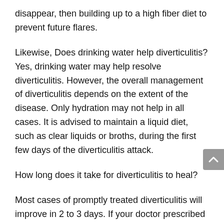disappear, then building up to a high fiber diet to prevent future flares.
Likewise, Does drinking water help diverticulitis? Yes, drinking water may help resolve diverticulitis. However, the overall management of diverticulitis depends on the extent of the disease. Only hydration may not help in all cases. It is advised to maintain a liquid diet, such as clear liquids or broths, during the first few days of the diverticulitis attack.
How long does it take for diverticulitis to heal?
Most cases of promptly treated diverticulitis will improve in 2 to 3 days. If your doctor prescribed